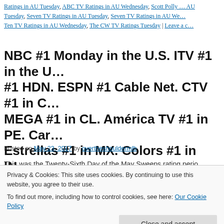Ratings in AU Tuesday, ABC TV Ratings in AU Wednesday, Scott Polly … AU Tuesday, Seven TV Ratings in AU Tuesday, Seven TV Ratings in AU We… Ten TV Ratings in AU Wednesday, The CW TV Ratings Tuesday | Leave a c…
NBC #1 Monday in the U.S. ITV #1 in the U… #1 HDN. ESPN #1 Cable Net. CTV #1 in C… MEGA #1 in CL. América TV #1 in PE. Car… Estrellas #1 in MX. Colors #1 in IN.
Posted on May 23, 2017 by overtheshouldermlb
This was the Twenty-Sixth Day of the May Sweeps rating perio… through May 24, 2017. Reality and Soaps dominated the top tel… English Language World on Monday in prime time. … Continue…
Privacy & Cookies: This site uses cookies. By continuing to use this website, you agree to their use.
To find out more, including how to control cookies, see here: Our Cookie Policy
Close and accept
overtheshouldermedia by, Television Premiere Dates 2017, Television Progra…